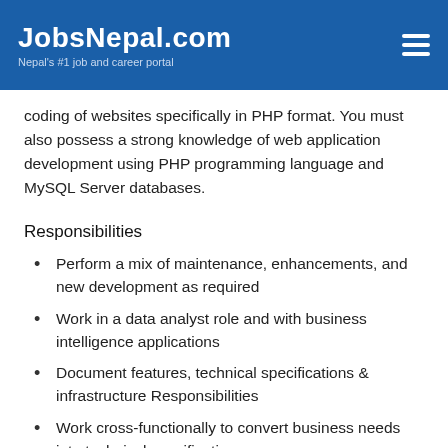JobsNepal.com — Nepal's #1 job and career portal
coding of websites specifically in PHP format. You must also possess a strong knowledge of web application development using PHP programming language and MySQL Server databases.
Responsibilities
Perform a mix of maintenance, enhancements, and new development as required
Work in a data analyst role and with business intelligence applications
Document features, technical specifications & infrastructure Responsibilities
Work cross-functionally to convert business needs into technical specifications
Qualifications